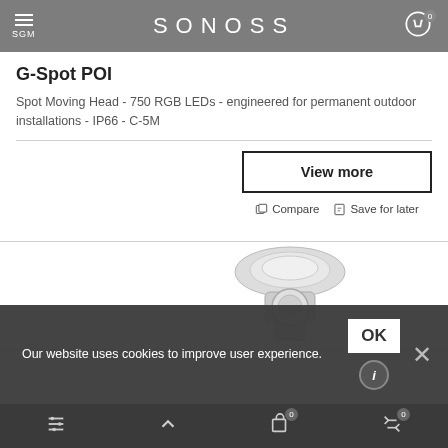SGM SONOSS
G-Spot POI
Spot Moving Head - 750 RGB LEDs - engineered for permanent outdoor installations - IP66 - C-5M
View more
Compare  Save for later
[Figure (photo): Partial view of SGM G-Spot POI moving head fixture]
Our website uses cookies to improve user experience.
OK  i  x  bottom navigation bar with filter, up arrow, cart (0), and compare (0) icons